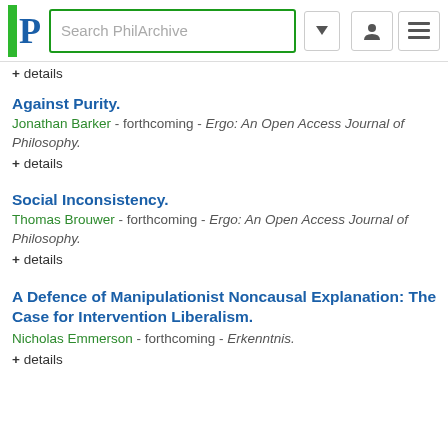Search PhilArchive
+ details
Against Purity.
Jonathan Barker - forthcoming - Ergo: An Open Access Journal of Philosophy.
+ details
Social Inconsistency.
Thomas Brouwer - forthcoming - Ergo: An Open Access Journal of Philosophy.
+ details
A Defence of Manipulationist Noncausal Explanation: The Case for Intervention Liberalism.
Nicholas Emmerson - forthcoming - Erkenntnis.
+ details